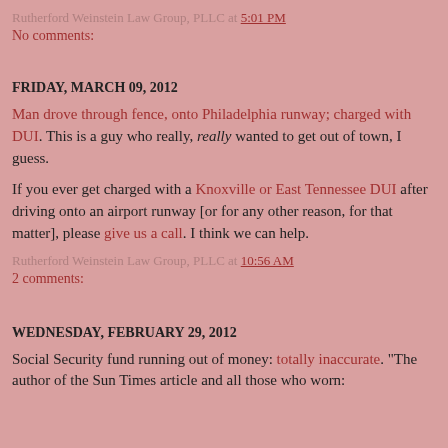Rutherford Weinstein Law Group, PLLC at 5:01 PM
No comments:
FRIDAY, MARCH 09, 2012
Man drove through fence, onto Philadelphia runway; charged with DUI. This is a guy who really, really wanted to get out of town, I guess.
If you ever get charged with a Knoxville or East Tennessee DUI after driving onto an airport runway [or for any other reason, for that matter], please give us a call. I think we can help.
Rutherford Weinstein Law Group, PLLC at 10:56 AM
2 comments:
WEDNESDAY, FEBRUARY 29, 2012
Social Security fund running out of money: totally inaccurate. "The author of the Sun Times article and all those who worn: